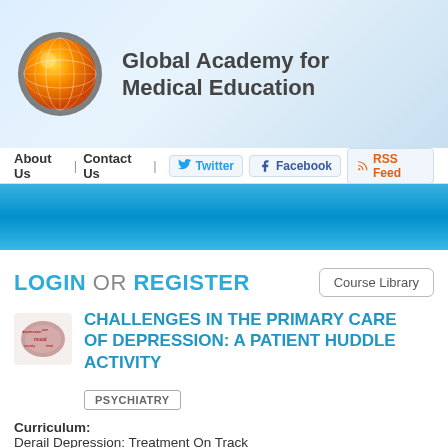[Figure (logo): Globe logo with orange gradient sphere and gray ring, alongside text 'Global Academy for Medical Education']
Global Academy for Medical Education
About Us | Contact Us | Twitter | Facebook | RSS Feed
[Figure (illustration): Blue gradient banner bar]
LOGIN OR REGISTER
Course Library
[Figure (illustration): Brain/depression word cloud thumbnail image]
CHALLENGES IN THE PRIMARY CARE OF DEPRESSION: A PATIENT HUDDLE ACTIVITY
PSYCHIATRY
Curriculum: Derail Depression: Treatment On Track